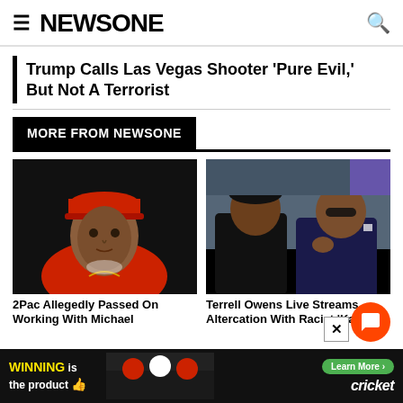NEWSONE
Trump Calls Las Vegas Shooter ‘Pure Evil,’ But Not A Terrorist
MORE FROM NEWSONE
[Figure (photo): Photo of 2Pac wearing a red shirt and red cap]
2Pac Allegedly Passed On Working With Michael
[Figure (photo): Photo of Terrell Owens at a studio/event with another person]
Terrell Owens Live Streams Altercation With Racist ‘Karen’
[Figure (photo): Advertisement banner: WINNING is the product, cricket]